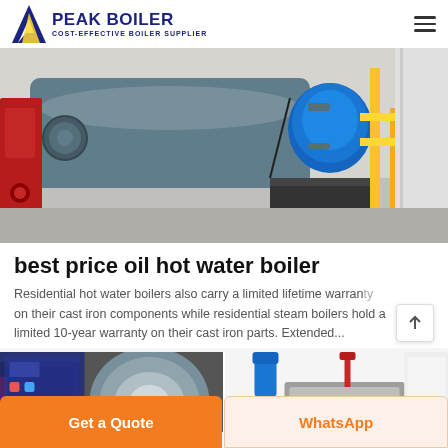PEAK BOILER COST-EFFECTIVE BOILER SUPPLIER
[Figure (photo): Industrial boiler equipment in a facility showing large cylindrical boilers, yellow gas pipes, and insulated components on a concrete floor]
best price oil hot water boiler
Residential hot water boilers also carry a limited lifetime warranty on their cast iron components while residential steam boilers hold a limited 10-year warranty on their cast iron parts. Extended...
[Figure (photo): Two side-by-side industrial boiler interior/component photos]
Get a Quote
WhatsApp